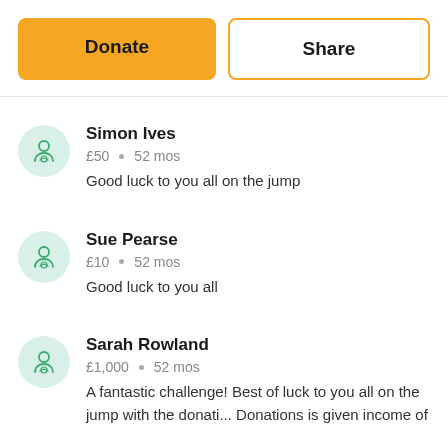[Figure (screenshot): Two buttons: Donate (orange filled) and Share (white with orange border)]
Simon Ives · £50 · 52 mos · Good luck to you all on the jump
Sue Pearse · £10 · 52 mos · Good luck to you all
Sarah Rowland · £1,000 · 52 mos · A fantastic challenge! Best of luck to you all on the jump with the donations. Donations is given income of